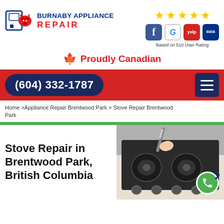[Figure (logo): Burnaby Appliance Repair logo with bull icon and appliances graphic]
[Figure (infographic): 5 gold stars rating with Facebook, Google, Yelp, BBB icons and text Based on 510 User Ratings]
🍁  Proudly Canadian
(604) 332-1787
Home > Appliance Repair Brentwood Park > Stove Repair Brentwood Park
Stove Repair in Brentwood Park, British Columbia
[Figure (photo): Person repairing a gas stove burner with screwdriver]